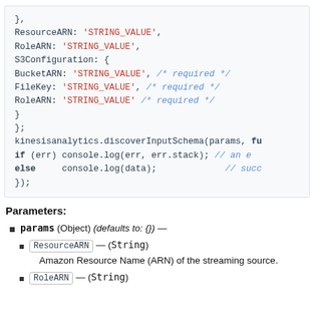[Figure (screenshot): Code block showing JavaScript object with ResourceARN, RoleARN, S3Configuration properties and kinesisanalytics.discoverInputSchema call]
Parameters:
params (Object) (defaults to: {}) —
ResourceARN — (String)
Amazon Resource Name (ARN) of the streaming source.
RoleARN — (String)